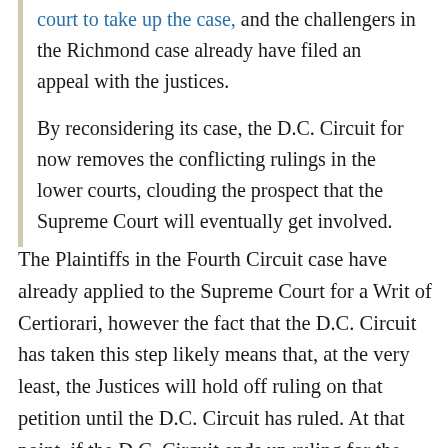court to take up the case, and the challengers in the Richmond case already have filed an appeal with the justices.
By reconsidering its case, the D.C. Circuit for now removes the conflicting rulings in the lower courts, clouding the prospect that the Supreme Court will eventually get involved.
The Plaintiffs in the Fourth Circuit case have already applied to the Supreme Court for a Writ of Certiorari, however the fact that the D.C. Circuit has taken this step likely means that, at the very least, the Justices will hold off ruling on that petition until the D.C. Circuit has ruled. At that point, if the D.C. Circuit ends up ruling for the government, as many suspect given the fact that the full court now has a majority of Judges appointed by President Obama, then there would be a distinct